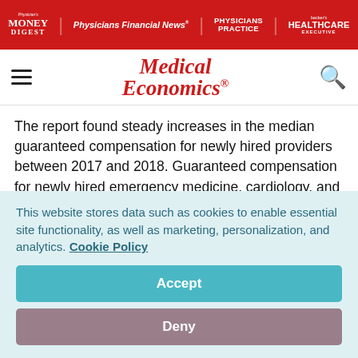Physician's Money Digest | Physicians Financial News | Physicians Practice | Healthcare Executive
[Figure (logo): Medical Economics logo in red italic text]
The report found steady increases in the median guaranteed compensation for newly hired providers between 2017 and 2018. Guaranteed compensation for newly hired emergency medicine, cardiology, and urology physicians grew 40.43 percent ($207,360 to $291,194), 21.25 percent ($400,000 to $485,000) and 20 percent ($312,500 to $375,000), respectively.
This website stores data such as cookies to enable essential site functionality, as well as marketing, personalization, and analytics. Cookie Policy
Accept
Deny